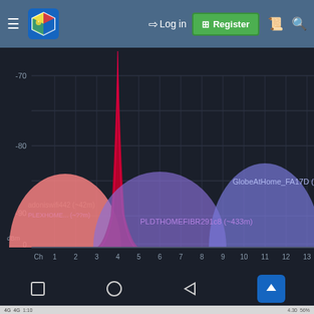[Figure (screenshot): Android app screenshot showing a WiFi analyzer with navigation bar at top (hamburger menu, cube logo, login, register button), a WiFi channel graph on dark background showing three overlapping network signals: a red/crimson signal on channel 4 (tallest, reaching about -70 dBm), a pink signal on channel 1-2 labeled 'adoniswifi442 (~42m)' and partially 'PLEXHOME...', a purple signal on channels 6-7 labeled 'PLDTHOMEFIBR291c8 (~433m)', and a blue-purple signal on channels 11-12 labeled 'GlobeAtHome_FA17D (~86m)'. Y-axis shows dBm scale from 0 to -90. X-axis shows channels Ch 1 through 14. Bottom shows Android navigation bar with square, circle, and back triangle buttons plus a blue scroll-up button. Very bottom shows partial status bar with 4G icons, time 1:10, battery 56%.]